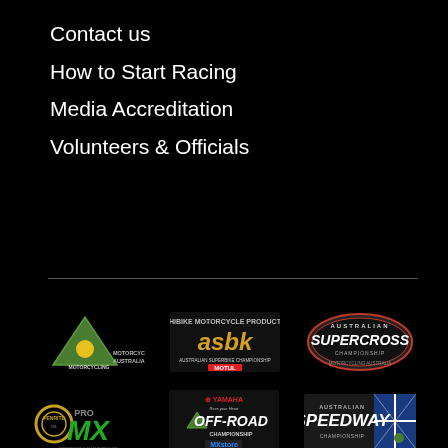Contact us
How to Start Racing
Media Accreditation
Volunteers & Officials
[Figure (logo): Motorcycling Australia green triangle logo with text MOTORCYCLING AUSTRALIA]
[Figure (logo): ASBK Australian Superbike Championship logo with MOTUL sponsor]
[Figure (logo): Australian Supercross Championship logo]
[Figure (logo): Penrite Pro MX Motocross Championship logo]
[Figure (logo): Yamaha Australian Off-Road Championship logo with MXstore sponsor]
[Figure (logo): Australian Speedway Championship logo with Australian flag]